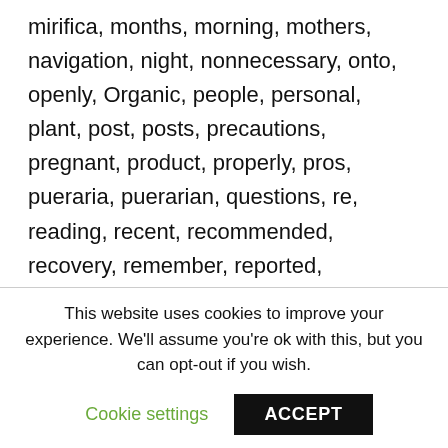mirifica, months, morning, mothers, navigation, night, nonnecessary, onto, openly, Organic, people, personal, plant, post, posts, precautions, pregnant, product, properly, pros, pueraria, puerarian, questions, re, reading, recent, recommended, recovery, remember, reported, research, results, rubbed, safest, scalp, scars, search, selling, settingsacceptprivacy, settled, six, skyferiacalendardecember, smile, smoother, specifically, straight, studies, success, surgery,
This website uses cookies to improve your experience. We'll assume you're ok with this, but you can opt-out if you wish.
Cookie settings
ACCEPT